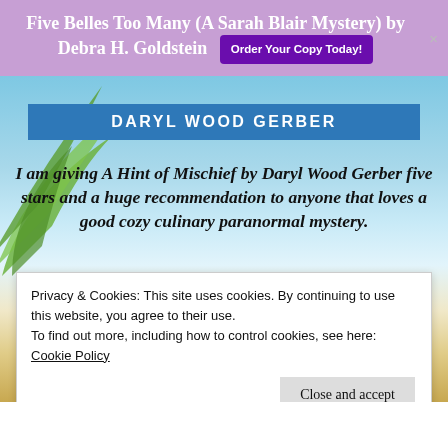Five Belles Too Many (A Sarah Blair Mystery) by Debra H. Goldstein
DARYL WOOD GERBER
I am giving A Hint of Mischief by Daryl Wood Gerber five stars and a huge recommendation to anyone that loves a good cozy culinary paranormal mystery.
~Baroness’ Book Trove
Privacy & Cookies: This site uses cookies. By continuing to use this website, you agree to their use.
To find out more, including how to control cookies, see here: Cookie Policy
Close and accept